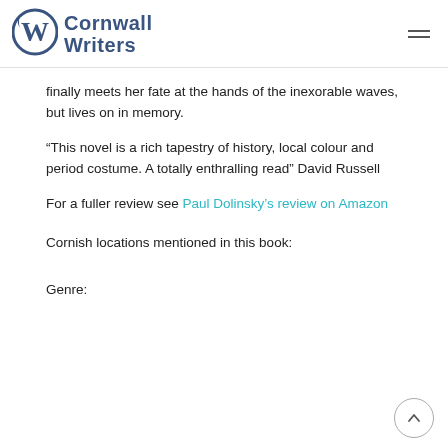Cornwall Writers
finally meets her fate at the hands of the inexorable waves, but lives on in memory.
“This novel is a rich tapestry of history, local colour and period costume. A totally enthralling read” David Russell
For a fuller review see Paul Dolinsky’s review on Amazon
Cornish locations mentioned in this book:
Genre: